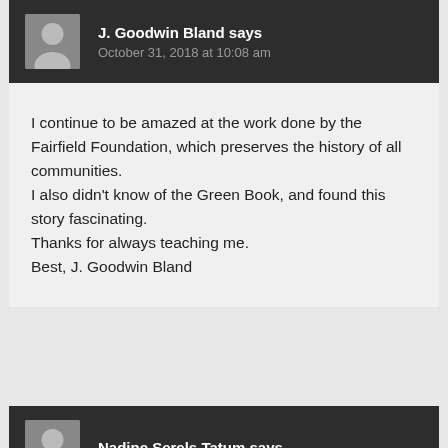J. Goodwin Bland says
October 31, 2018 at 10:08 am
I continue to be amazed at the work done by the Fairfield Foundation, which preserves the history of all communities. I also didn't know of the Green Book, and found this story fascinating.
Thanks for always teaching me.
Best, J. Goodwin Bland
Nadine Serels Tatum says